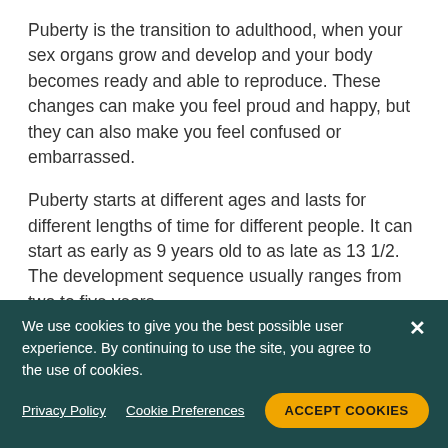Puberty is the transition to adulthood, when your sex organs grow and develop and your body becomes ready and able to reproduce. These changes can make you feel proud and happy, but they can also make you feel confused or embarrassed.
Puberty starts at different ages and lasts for different lengths of time for different people. It can start as early as 9 years old to as late as 13 1/2. The development sequence usually ranges from two to five years.
This is sometimes very difficult, because some of
We use cookies to give you the best possible user experience. By continuing to use the site, you agree to the use of cookies.
Privacy Policy  Cookie Preferences  ACCEPT COOKIES